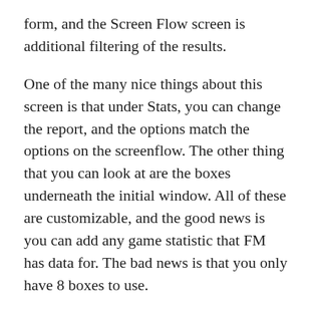form, and the Screen Flow screen is additional filtering of the results.
One of the many nice things about this screen is that under Stats, you can change the report, and the options match the options on the screenflow. The other thing that you can look at are the boxes underneath the initial window. All of these are customizable, and the good news is you can add any game statistic that FM has data for. The bad news is that you only have 8 boxes to use.
The worse news is that sometimes when you are using a skin that is not the base skin, the data boxes change, even if you go back and reset them. I am not sure why, but on some skins they do not move, and on other skins they do. One of the cool things I have